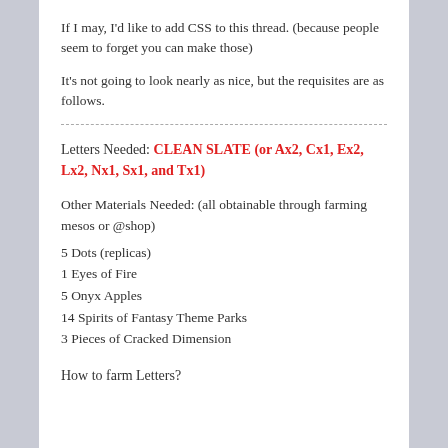If I may, I'd like to add CSS to this thread. (because people seem to forget you can make those)
It's not going to look nearly as nice, but the requisites are as follows.
Letters Needed: CLEAN SLATE (or Ax2, Cx1, Ex2, Lx2, Nx1, Sx1, and Tx1)
Other Materials Needed: (all obtainable through farming mesos or @shop)
5 Dots (replicas)
1 Eyes of Fire
5 Onyx Apples
14 Spirits of Fantasy Theme Parks
3 Pieces of Cracked Dimension
How to farm Letters?